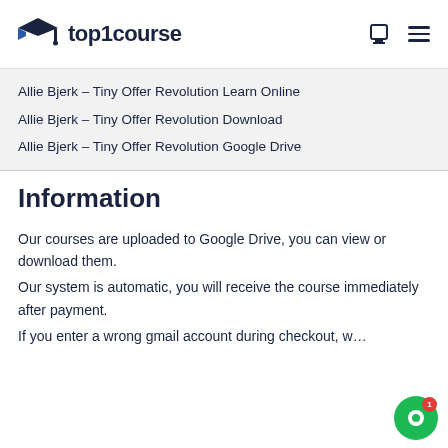top1course
Allie Bjerk – Tiny Offer Revolution Learn Online
Allie Bjerk – Tiny Offer Revolution Download
Allie Bjerk – Tiny Offer Revolution Google Drive
Information
Our courses are uploaded to Google Drive, you can view or download them.
Our system is automatic, you will receive the course immediately after payment.
If you enter a wrong gmail account during checkout, w…